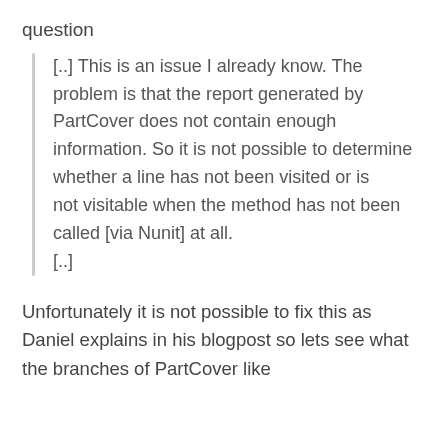question
[..] This is an issue I already know. The problem is that the report generated by PartCover does not contain enough information. So it is not possible to determine whether a line has not been visited or is not visitable when the method has not been called [via Nunit] at all.
[..]
Unfortunately it is not possible to fix this as Daniel explains in his blogpost so lets see what the branches of PartCover like